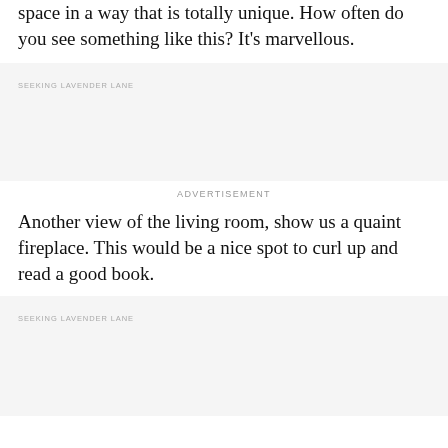space in a way that is totally unique. How often do you see something like this? It's marvellous.
[Figure (photo): Image placeholder with label SEEKING LAVENDER LANE]
ADVERTISEMENT
Another view of the living room, show us a quaint fireplace. This would be a nice spot to curl up and read a good book.
[Figure (photo): Image placeholder with label SEEKING LAVENDER LANE]